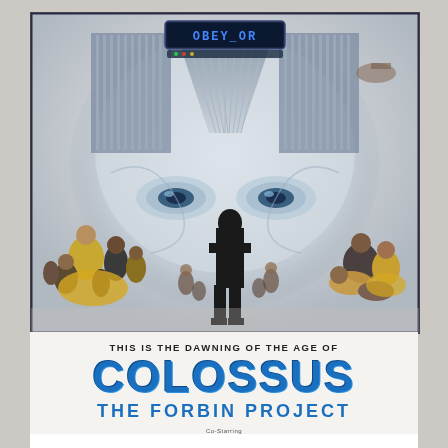[Figure (illustration): Movie poster artwork for 'Colossus: The Forbin Project'. Shows a large glowing computer/robot face with eyes looking down, a dark silhouette of a man standing in the center foreground, crowds of people on the left and right, a long corridor of computer banks receding into the distance at the top, and a display reading 'OBEY OR' at the top of the image.]
THIS IS THE DAWNING OF THE AGE OF
COLOSSUS
THE FORBIN PROJECT
Co-Starring